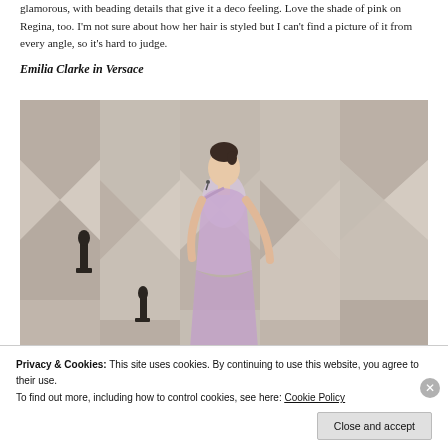glamorous, with beading details that give it a deco feeling. Love the shade of pink on Regina, too. I'm not sure about how her hair is styled but I can't find a picture of it from every angle, so it's hard to judge.
Emilia Clarke in Versace
[Figure (photo): Emilia Clarke posing on the Oscars red carpet in a strapless lavender/silver Versace gown, in front of the geometric Oscar statuette backdrop]
Privacy & Cookies: This site uses cookies. By continuing to use this website, you agree to their use.
To find out more, including how to control cookies, see here: Cookie Policy
Close and accept